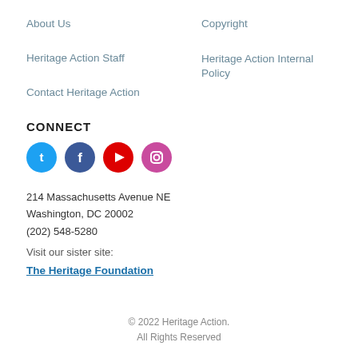About Us
Copyright
Heritage Action Staff
Heritage Action Internal Policy
Contact Heritage Action
CONNECT
[Figure (illustration): Four social media icons in colored circles: Twitter (blue), Facebook (dark blue), YouTube (red), Instagram (pink/magenta)]
214 Massachusetts Avenue NE
Washington, DC 20002
(202) 548-5280
Visit our sister site:
The Heritage Foundation
© 2022 Heritage Action.
All Rights Reserved